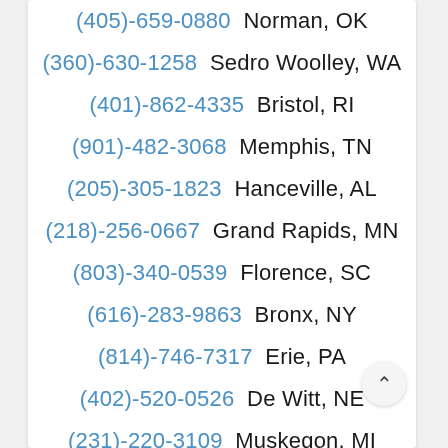(405)-659-0880  Norman, OK
(360)-630-1258  Sedro Woolley, WA
(401)-862-4335  Bristol, RI
(901)-482-3068  Memphis, TN
(205)-305-1823  Hanceville, AL
(218)-256-0667  Grand Rapids, MN
(803)-340-0539  Florence, SC
(616)-283-9863  Bronx, NY
(814)-746-7317  Erie, PA
(402)-520-0526  De Witt, NE
(231)-220-3109  Muskegon, MI